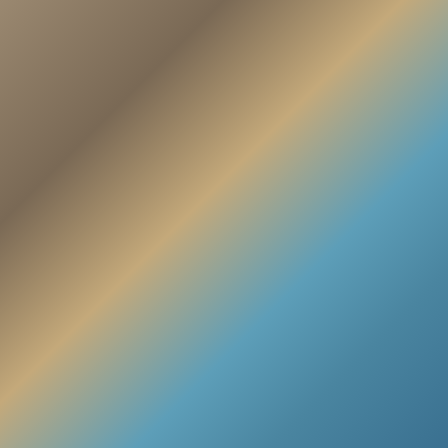Grassroots Advertising Inc. — navigation header
[Figure (photo): Partial image strip showing a wooden surface and a teal/blue illustrated backdrop]
We're all in this together, just 6 ft apart...
Grassroots Advertising hopes everyone is staying safe and healthy during the COVID-19 Crisis. These are extremely unpredictable times and its affecting each and every one of us worldwide. It's impacted the way we work, socialize, have meals, and do activities.
However, the COVID-19 Crisis has shown a lot of good in humanity. Cashiers, Doctors, Nurses, Paramedics, Police Officers, Firefighters, Delivery Drivers, Janitors, and many more are risking their lives every day to help us all get through this. Even though we have to keep our physical distance, we are all coming together stronger than ever.
Businesses are thinking of resourceful ways to assist communities. Whether it's donating funds, providing their